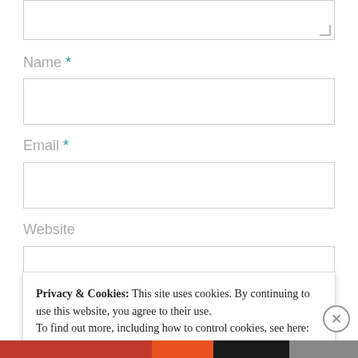[Figure (screenshot): Partial text input area (textarea) with resize handle visible at bottom right]
Name *
[Figure (screenshot): Empty text input field for Name]
Email *
[Figure (screenshot): Empty text input field for Email]
Website
[Figure (screenshot): Empty text input field for Website]
Privacy & Cookies: This site uses cookies. By continuing to use this website, you agree to their use.
To find out more, including how to control cookies, see here: Cookie Policy
Close and accept